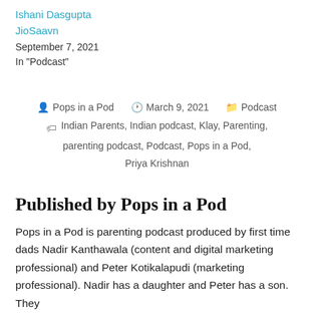Ishani Dasgupta
JioSaavn
September 7, 2021
In "Podcast"
Posted by Pops in a Pod   March 9, 2021   Podcast
Indian Parents, Indian podcast, Klay, Parenting, parenting podcast, Podcast, Pops in a Pod, Priya Krishnan
Published by Pops in a Pod
Pops in a Pod is parenting podcast produced by first time dads Nadir Kanthawala (content and digital marketing professional) and Peter Kotikalapudi (marketing professional). Nadir has a daughter and Peter has a son. They